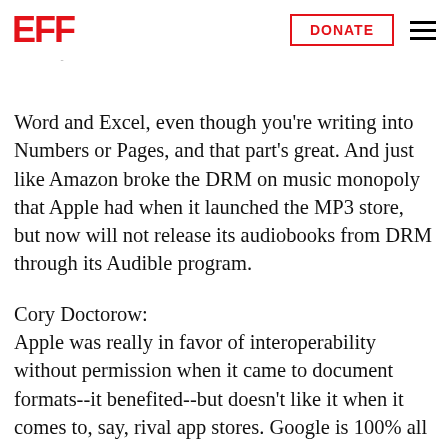EFF | DONATE
weird hairball that is Microsoft Office formats, and towards competing office suites that were super innovative but could also save out to Word and Excel, even though you're writing into Numbers or Pages, and that part's great. And just like Amazon broke the DRM on music monopoly that Apple had when it launched the MP3 store, but now will not release its audiobooks from DRM through its Audible program.
Cory Doctorow:
Apple was really in favor of interoperability without permission when it came to document formats--it benefited--but doesn't like it when it comes to, say, rival app stores. Google is 100% all over interoperability when it comes to APIs, but not so much when it comes to the other areas where they enjoy lock-in. And I think that the lesson here is that we as users want interoperability irrespective